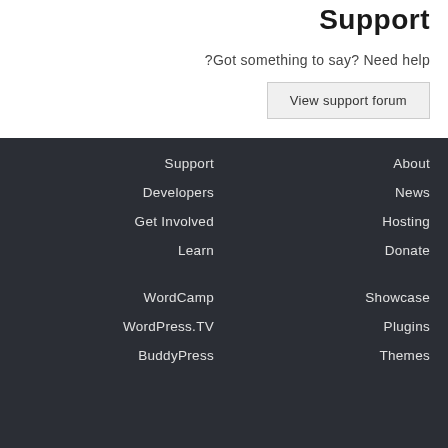Support
Got something to say? Need help?
View support forum
Support
About
Developers
News
Get Involved
Hosting
Learn
Donate
WordCamp
Showcase
WordPress.TV
Plugins
BuddyPress
Themes